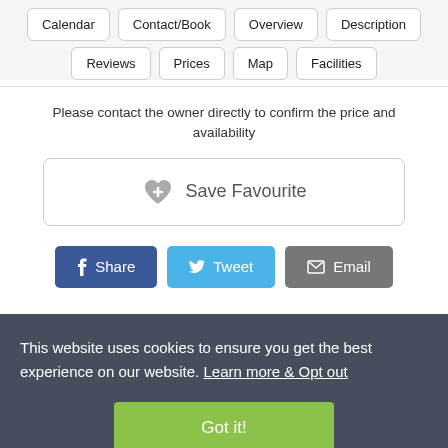Calendar | Contact/Book | Overview | Description | Reviews | Prices | Map | Facilities
Please contact the owner directly to confirm the price and availability
Save Favourite
Share | Tweet | Email
This website uses cookies to ensure you get the best experience on our website. Learn more & Opt out
Got it!